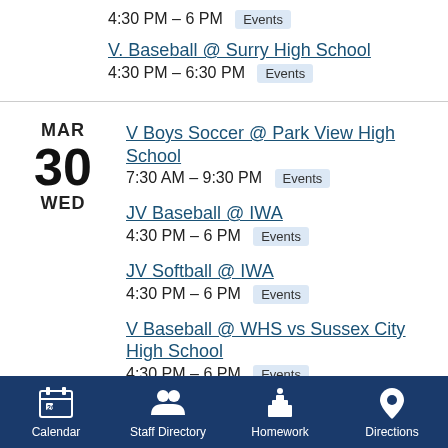4:30 PM – 6 PM  Events
V. Baseball @ Surry High School
4:30 PM – 6:30 PM  Events
MAR 30 WED
V Boys Soccer @ Park View High School
7:30 AM – 9:30 PM  Events
JV Baseball @ IWA
4:30 PM – 6 PM  Events
JV Softball @ IWA
4:30 PM – 6 PM  Events
V Baseball @ WHS vs Sussex City High School
4:30 PM – 6 PM  Events
Calendar  Staff Directory  Homework  Directions